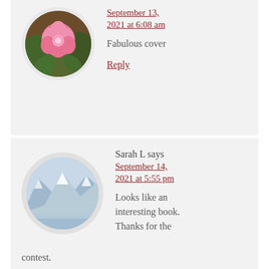[Figure (photo): Circular avatar image of a pink rose flower with green leaves background]
September 13, 2021 at 6:08 am
Fabulous cover
Reply
[Figure (photo): Circular avatar image of snow-capped mountains with glacier and water in the foreground]
Sarah L says
September 14, 2021 at 5:55 pm
Looks like an interesting book. Thanks for the contest.